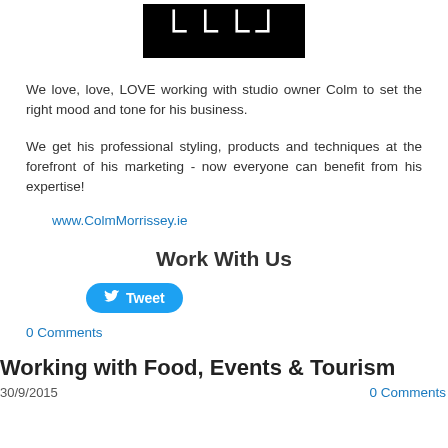[Figure (logo): Black rectangular logo box with white stylized bracket/letter characters resembling IJJLJ]
We love, love, LOVE working with studio owner Colm to set the right mood and tone for his business.
We get his professional styling, products and techniques at the forefront of his marketing - now everyone can benefit from his expertise!
www.ColmMorrissey.ie
Work With Us
[Figure (other): Twitter Tweet button in blue with bird icon]
0 Comments
Working with Food, Events & Tourism
30/9/2015    0 Comments